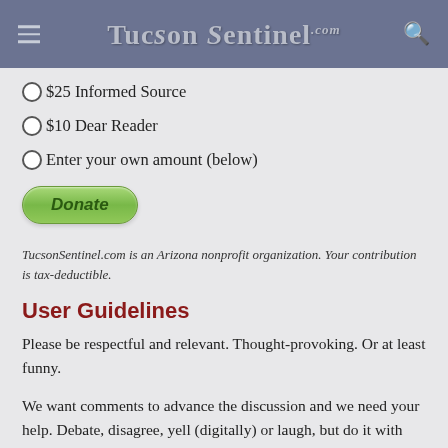TucsonSentinel.com
$25 Informed Source
$10 Dear Reader
Enter your own amount (below)
Donate
TucsonSentinel.com is an Arizona nonprofit organization. Your contribution is tax-deductible.
User Guidelines
Please be respectful and relevant. Thought-provoking. Or at least funny.
We want comments to advance the discussion and we need your help. Debate, disagree, yell (digitally) or laugh, but do it with respect.